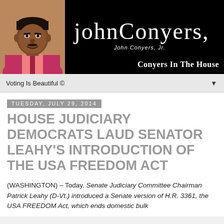[Figure (photo): Header banner for 'Conyers In The House' blog featuring a photo of John Conyers Jr. on the left against a black background, with a cursive signature 'John Conyers, Jr.' in white in the center, and 'Conyers In The House' in bold white serif text at the bottom right.]
Voting Is Beautiful ©
Tuesday, July 29, 2014
HOUSE JUDICIARY DEMOCRATS LAUD SENATOR LEAHY'S INTRODUCTION OF THE USA FREEDOM ACT
(WASHINGTON) – Today, Senate Judiciary Committee Chairman Patrick Leahy (D-Vt.) introduced a Senate version of H.R. 3361, the USA FREEDOM Act, which ends domestic bulk